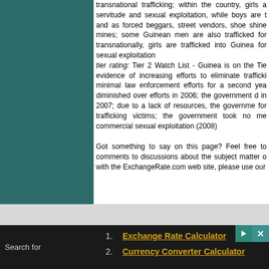transnational trafficking; within the country, girls are subjected to domestic servitude and sexual exploitation, while boys are trafficked for agricultural work and as forced beggars, street vendors, shoe shiners, and workers in gold mines; some Guinean men are also trafficked for forced agricultural labor; transnationally, girls are trafficked into Guinea for domestic servitude and sexual exploitation
tier rating: Tier 2 Watch List - Guinea is on the Tier 2 Watch List for evidence of increasing efforts to eliminate trafficking but shows minimal law enforcement efforts for a second year; these efforts have diminished over efforts in 2006; the government did not investigate any cases in 2007; due to a lack of resources, the government provided no direct services for trafficking victims; the government took no measures to reduce demand for commercial sexual exploitation (2008)
Got something to say on this page? Feel free to contribute your comments to discussions about the subject matter of this page. For topics with the ExchangeRate.com web site, please use our
1. Exchange Rate Calculator
2. Currency Converter Calculator
Search for